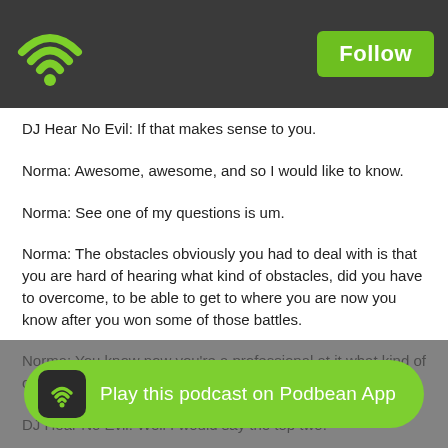Follow
DJ Hear No Evil: If that makes sense to you.
Norma: Awesome, awesome, and so I would like to know.
Norma: See one of my questions is um.
Norma: The obstacles obviously you had to deal with is that you are hard of hearing what kind of obstacles, did you have to overcome, to be able to get to where you are now you know after you won some of those battles.
Norma: You know now you're a professional at it what kind of obstacles, did you meet as you were climbing the ladder.
DJ Hear No Evil: Well I would say the top two.
DJ Hear No Evil: One is communication. That's number one, that's very, I mean that's where we had an issue with it, I mean it's been going on for years. For years.
DJ Hear No Evil: And number two is my ear, so I don't hear everything
DJ Hear No Evil: So to communicate, So if I communicate with you
[Figure (other): Play this podcast on Podbean App button overlay at bottom of screen]